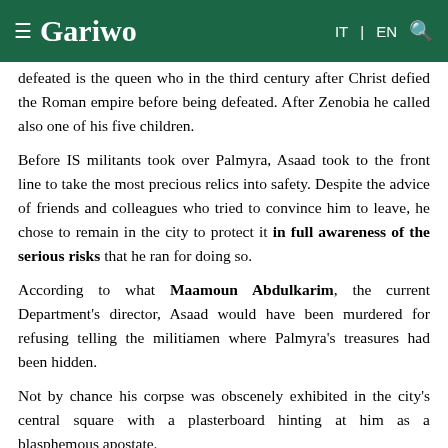≡ Gariwo   IT | EN 🔍
defeated is the queen who in the third century after Christ defied the Roman empire before being defeated. After Zenobia he called also one of his five children.
Before IS militants took over Palmyra, Asaad took to the front line to take the most precious relics into safety. Despite the advice of friends and colleagues who tried to convince him to leave, he chose to remain in the city to protect it in full awareness of the serious risks that he ran for doing so.
According to what Maamoun Abdulkarim, the current Department's director, Asaad would have been murdered for refusing telling the militiamen where Palmyra's treasures had been hidden.
Not by chance his corpse was obscenely exhibited in the city's central square with a plasterboard hinting at him as a blasphemous apostate.
Despite always belonging to the Syrian leading class